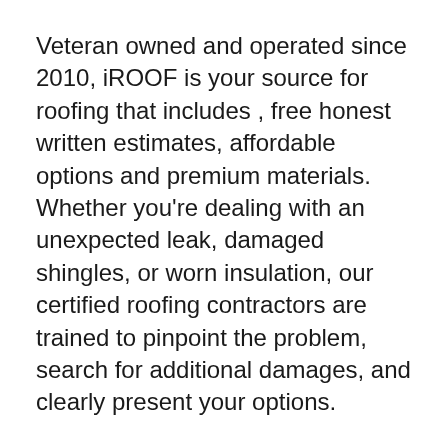Veteran owned and operated since 2010, iROOF is your source for roofing that includes , free honest written estimates, affordable options and premium materials.  Whether you're dealing with an unexpected leak, damaged shingles, or worn insulation, our certified roofing contractors are trained to pinpoint the problem, search for additional damages, and clearly present your options.
We use only premium materials for both repairs and installations to ensure you get the most out of your roof. Our commitment to exceptional customer service means we're upfront about our fees. This includes written estimates to clearly define our rates. Our roofers can do most work in one day while maintaining the quality you deserve without